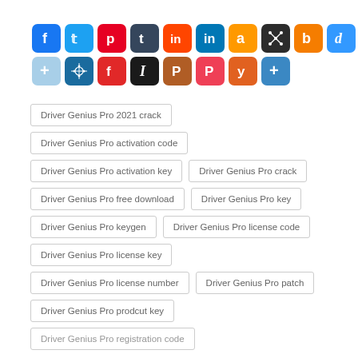[Figure (illustration): Two rows of social media sharing icons including Facebook, Twitter, Pinterest, Tumblr, Reddit, LinkedIn, Amazon, a network icon, Blogger, Delicious, a plus/share icon, a snowflake/cosmos icon, Flipboard, Instapaper, ProductHunt, Pocket, Yummly, and an AddThis plus icon]
Driver Genius Pro 2021 crack
Driver Genius Pro activation code
Driver Genius Pro activation key
Driver Genius Pro crack
Driver Genius Pro free download
Driver Genius Pro key
Driver Genius Pro keygen
Driver Genius Pro license code
Driver Genius Pro license key
Driver Genius Pro license number
Driver Genius Pro patch
Driver Genius Pro prodcut key
Driver Genius Pro registration code